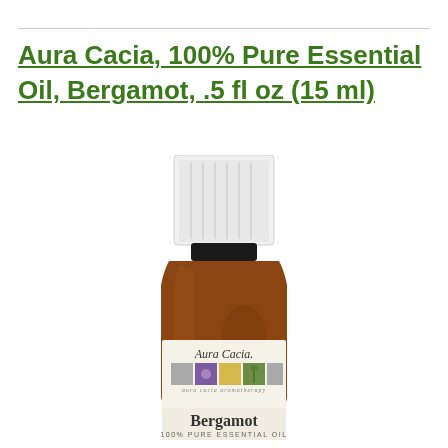Aura Cacia, 100% Pure Essential Oil, Bergamot, .5 fl oz (15 ml)
[Figure (photo): Product photo of Aura Cacia 100% Pure Essential Oil Bergamot 0.5 fl oz (15 ml) amber glass bottle with white cap and label showing the Aura Cacia brand name with colored squares and Bergamot text]